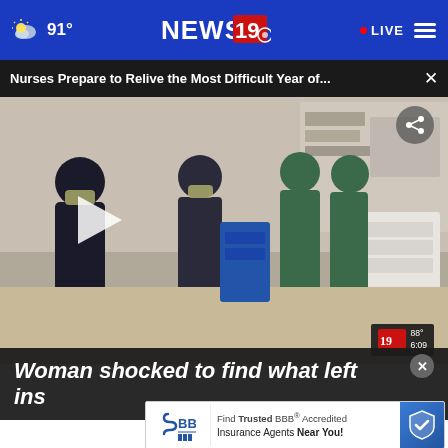NEWS 19 | 91° | LIVE
Nurses Prepare to Relive the Most Difficult Year of...
[Figure (photo): Hospital scene with nurses and medical staff wearing masks and scrubs in a busy medical ward. A play button is visible overlaid on the video thumbnail. NEWS 19 station bug shows 88° and 6:09.]
Woman shocked to find what left inside...
Find Trusted BBB® Accredited Insurance Agents Near You!